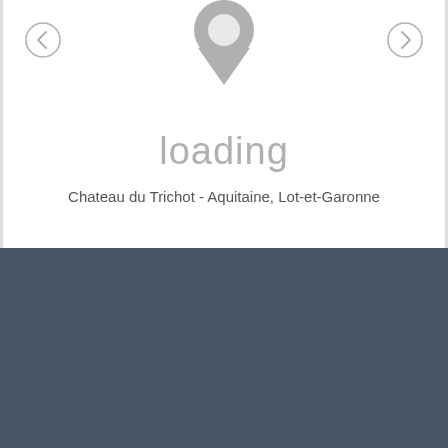[Figure (screenshot): Map loading placeholder with a grey location pin icon, left and right navigation arrows, the word 'loading' in grey below the pin, and location text 'Chateau du Trichot - Aquitaine, Lot-et-Garonne' beneath.]
This website uses cookies to ensure you get the best experience on our website. Learn more & Opt out
Got it!